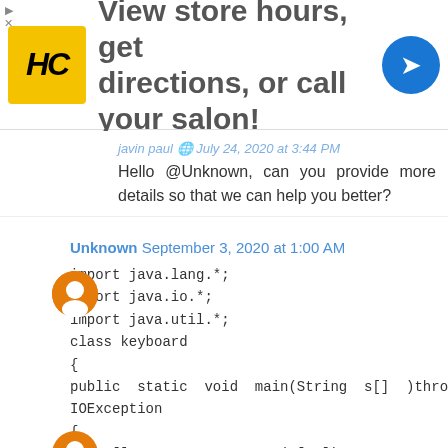[Figure (other): Advertisement banner: HC logo (yellow square with HC letters), text 'View store hours, get directions, or call your salon!', blue diamond navigation icon]
javin paul [icon] July 24, 2020 at 3:44 PM
Hello @Unknown, can you provide more details so that we can help you better?
Unknown September 3, 2020 at 1:00 AM
import java.lang.*;
import java.io.*;
import java.util.*;
class keyboard
{
public static void main(String s[] )throws IOException
{
int a[]= Integer.parseInt(a[10]);
int b[]=Integer.parseInt(b[10]);
int c[]=Integer.parseInt(c[10]);